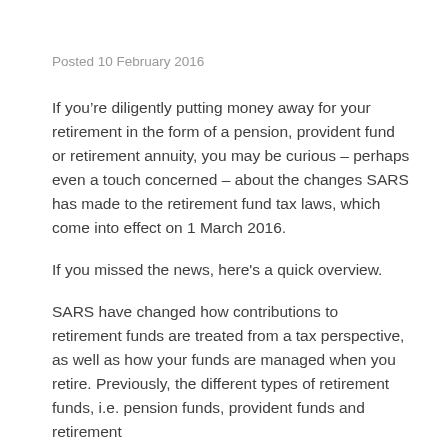Posted 10 February 2016
If you’re diligently putting money away for your retirement in the form of a pension, provident fund or retirement annuity, you may be curious – perhaps even a touch concerned – about the changes SARS has made to the retirement fund tax laws, which come into effect on 1 March 2016.
If you missed the news, here's a quick overview.
SARS have changed how contributions to retirement funds are treated from a tax perspective, as well as how your funds are managed when you retire. Previously, the different types of retirement funds, i.e. pension funds, provident funds and retirement